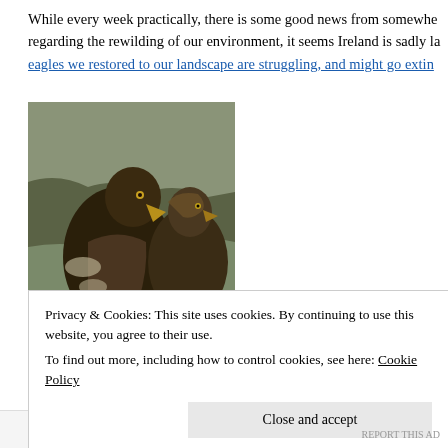While every week practically, there is some good news from somewhere regarding the rewilding of our environment, it seems Ireland is sadly la… eagles we restored to our landscape are struggling, and might go extinc…
[Figure (photo): Irish golden eagle chick perched on a rock, photographed for the Golden Eagle Trust]
Irish golden eagle chick; photo taken from Golden Eagle Trust, credit L…
In the Italian Apennines, bears are making a comeback. A recent article…
Privacy & Cookies: This site uses cookies. By continuing to use this website, you agree to their use.
To find out more, including how to control cookies, see here: Cookie Policy
Close and accept